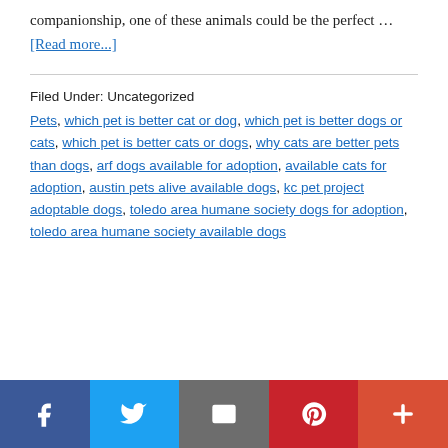companionship, one of these animals could be the perfect … [Read more...]
Filed Under: Uncategorized
Pets, which pet is better cat or dog, which pet is better dogs or cats, which pet is better cats or dogs, why cats are better pets than dogs, arf dogs available for adoption, available cats for adoption, austin pets alive available dogs, kc pet project adoptable dogs, toledo area humane society dogs for adoption, toledo area humane society available dogs
[Figure (infographic): Social sharing bar at the bottom with icons for Facebook, Twitter, Email, Pinterest, and a plus/more button]